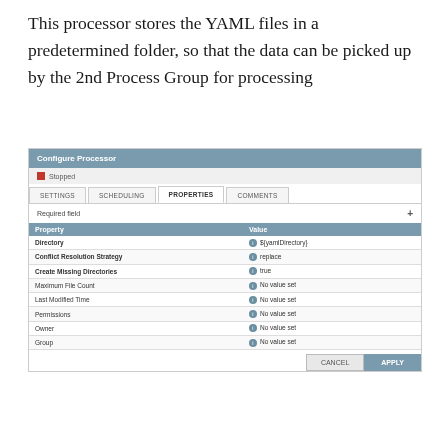This processor stores the YAML files in a predetermined folder, so that the data can be picked up by the 2nd Process Group for processing
[Figure (screenshot): Configure Processor dialog showing PROPERTIES tab. Status: Stopped. Table with Property/Value columns: Directory=${yamlDirectory}, Conflict Resolution Strategy=replace, Create Missing Directories=true, Maximum File Count=No value set, Last Modified Time=No value set, Permissions=No value set, Owner=No value set, Group=No value set. Buttons: CANCEL, APPLY.]